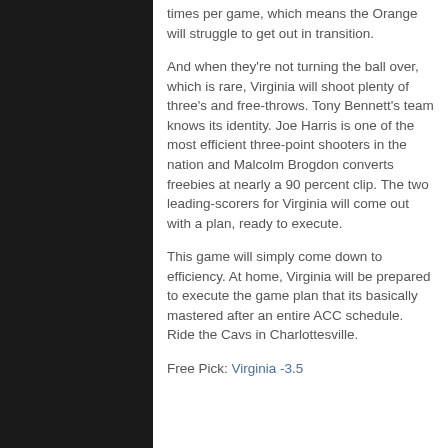times per game, which means the Orange will struggle to get out in transition.
And when they're not turning the ball over, which is rare, Virginia will shoot plenty of three's and free-throws. Tony Bennett's team knows its identity. Joe Harris is one of the most efficient three-point shooters in the nation and Malcolm Brogdon converts freebies at nearly a 90 percent clip. The two leading-scorers for Virginia will come out with a plan, ready to execute.
This game will simply come down to efficiency. At home, Virginia will be prepared to execute the game plan that its basically mastered after an entire ACC schedule. Ride the Cavs in Charlottesville.
Free Pick: Virginia -3.5